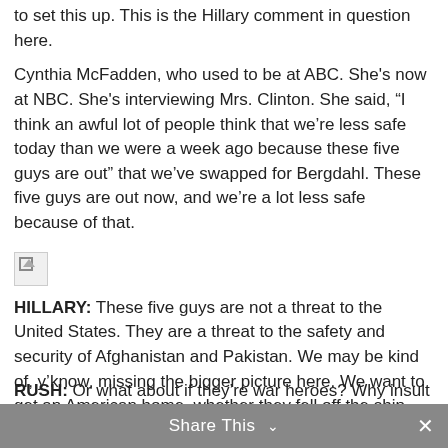to set this up. This is the Hillary comment in question here.
Cynthia McFadden, who used to be at ABC. She's now at NBC. She's interviewing Mrs. Clinton. She said, “I think an awful lot of people think that we’re less safe today than we were a week ago because these five guys are out” that we’ve swapped for Bergdahl. These five guys are out now, and we’re a lot less safe because of that.
[Figure (photo): Broken image placeholder icon]
HILLARY: These five guys are not a threat to the United States. They are a threat to the safety and security of Afghanistan and Pakistan. We may be kind of, y’know, missing the bigger picture here. We want to get an American home, whether they fell off the ship because they were drunk or they were pushed or they jumped, we try to rescue everybody.
RUSH: Or what about if they’re war heroes? Why insult
Share This ⌄